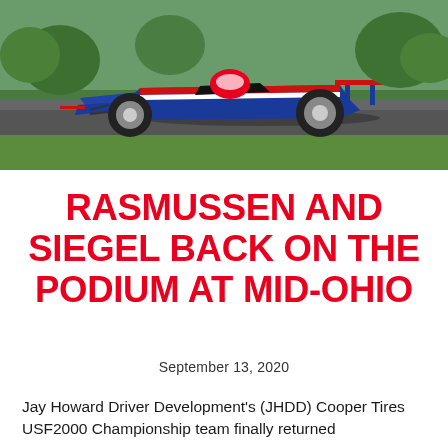[Figure (photo): A Formula-style open-wheel racing car on track with green grass in the background, livery in red, white and blue.]
RASMUSSEN AND SIEGEL BACK ON THE PODIUM AT MID-OHIO
September 13, 2020
Jay Howard Driver Development's (JHDD) Cooper Tires USF2000 Championship team finally returned